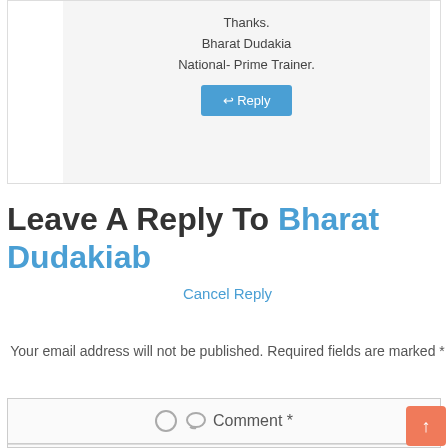Thanks.
Bharat Dudakia
National- Prime Trainer.
Reply
Leave A Reply To Bharat Dudakiab
Cancel Reply
Your email address will not be published. Required fields are marked *
Comment *